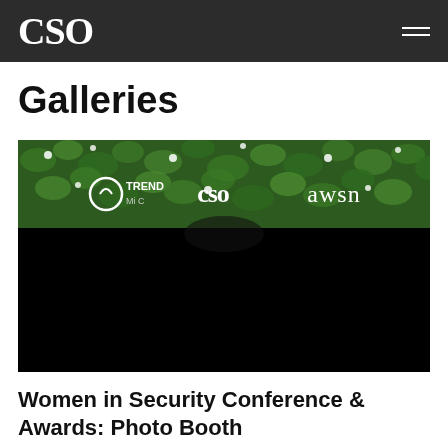CSO
Galleries
[Figure (photo): Photo booth backdrop with green leaf wall and logos: Trend Micro, CSO, awsn. A person partially visible in front.]
Women in Security Conference & Awards: Photo Booth